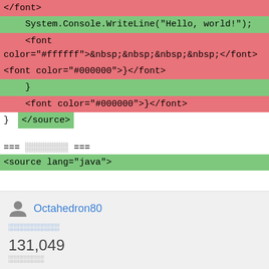</font>
System.Console.WriteLine("Hello, world!");
<font color="#ffffff">&nbsp;&nbsp;&nbsp;&nbsp;</font>
<font color="#000000">}</font>
}
<font color="#000000">}</font>
}
</source>
=== ░░░░░░░░ ===
<source lang="java">
Octahedron80
░░░░░░░░░░
131,049
░░░░░░░